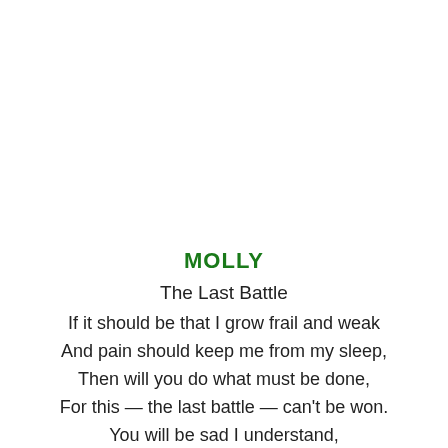MOLLY
The Last Battle
If it should be that I grow frail and weak
And pain should keep me from my sleep,
Then will you do what must be done,
For this — the last battle — can't be won.
You will be sad I understand,
But don't let grief then stay your hand,
For on this day, more than the rest,